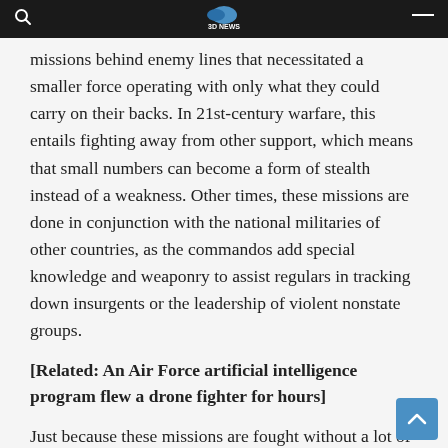3D NEWS
missions behind enemy lines that necessitated a smaller force operating with only what they could carry on their backs. In 21st-century warfare, this entails fighting away from other support, which means that small numbers can become a form of stealth instead of a weakness. Other times, these missions are done in conjunction with the national militaries of other countries, as the commandos add special knowledge and weaponry to assist regulars in tracking down insurgents or the leadership of violent nonstate groups.
[Related: An Air Force artificial intelligence program flew a drone fighter for hours]
Just because these missions are fought without a lot of